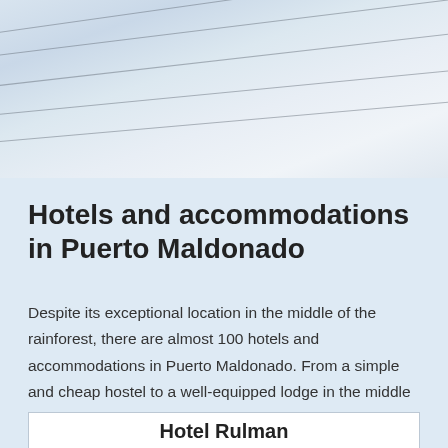[Figure (photo): Sky photo with power lines visible against cloudy background]
Hotels and accommodations in Puerto Maldonado
Despite its exceptional location in the middle of the rainforest, there are almost 100 hotels and accommodations in Puerto Maldonado. From a simple and cheap hostel to a well-equipped lodge in the middle of nature.
Hotel Rulman